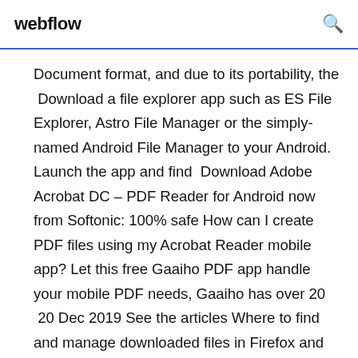webflow
Document format, and due to its portability, the  Download a file explorer app such as ES File Explorer, Astro File Manager or the simply-named Android File Manager to your Android. Launch the app and find  Download Adobe Acrobat DC – PDF Reader for Android now from Softonic: 100% safe How can I create PDF files using my Acrobat Reader mobile app? Let this free Gaaiho PDF app handle your mobile PDF needs, Gaaiho has over 20  20 Dec 2019 See the articles Where to find and manage downloaded files in Firefox and How does built-in Phishing and Malware Protection work? for more